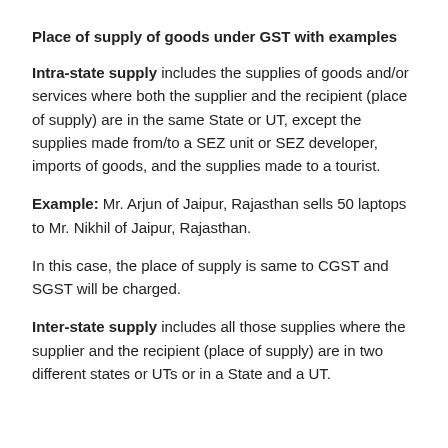Place of supply of goods under GST with examples
Intra-state supply includes the supplies of goods and/or services where both the supplier and the recipient (place of supply) are in the same State or UT, except the supplies made from/to a SEZ unit or SEZ developer, imports of goods, and the supplies made to a tourist.
Example: Mr. Arjun of Jaipur, Rajasthan sells 50 laptops to Mr. Nikhil of Jaipur, Rajasthan.
In this case, the place of supply is same to CGST and SGST will be charged.
Inter-state supply includes all those supplies where the supplier and the recipient (place of supply) are in two different states or UTs or in a State and a UT.